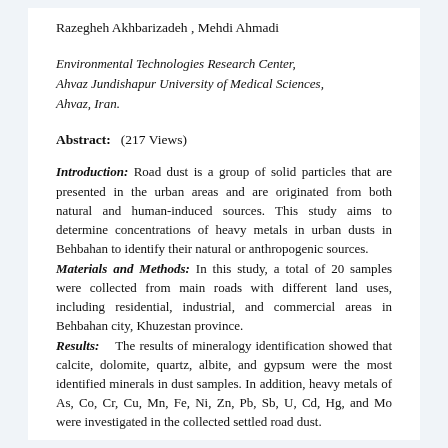Razegheh Akhbarizadeh , Mehdi Ahmadi
Environmental Technologies Research Center, Ahvaz Jundishapur University of Medical Sciences, Ahvaz, Iran.
Abstract:   (217 Views)
Introduction: Road dust is a group of solid particles that are presented in the urban areas and are originated from both natural and human-induced sources. This study aims to determine concentrations of heavy metals in urban dusts in Behbahan to identify their natural or anthropogenic sources. Materials and Methods: In this study, a total of 20 samples were collected from main roads with different land uses, including residential, industrial, and commercial areas in Behbahan city, Khuzestan province. Results: The results of mineralogy identification showed that calcite, dolomite, quartz, albite, and gypsum were the most identified minerals in dust samples. In addition, heavy metals of As, Co, Cr, Cu, Mn, Fe, Ni, Zn, Pb, Sb, U, Cd, Hg, and Mo were investigated in the collected settled road dust.